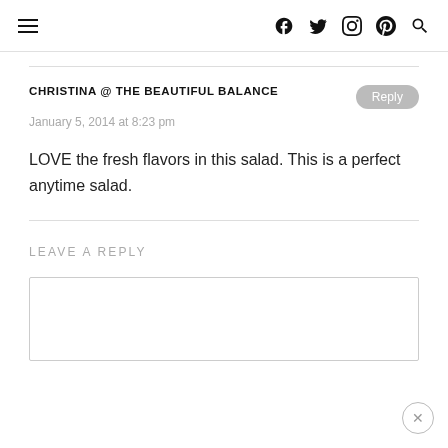≡  [social icons: Facebook, Twitter, Instagram, Pinterest, Search]
CHRISTINA @ THE BEAUTIFUL BALANCE
January 5, 2014 at 8:23 pm

LOVE the fresh flavors in this salad. This is a perfect anytime salad.
LEAVE A REPLY